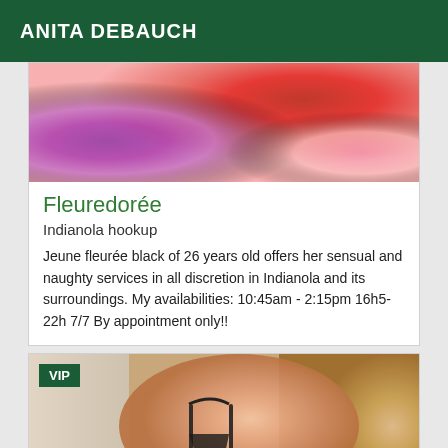ANITA DEBAUCH
[Figure (photo): Close-up photo showing red and purple fabric/clothing]
Fleuredorée
Indianola hookup
Jeune fleurée black of 26 years old offers her sensual and naughty services in all discretion in Indianola and its surroundings. My availabilities: 10:45am - 2:15pm 16h5-22h 7/7 By appointment only!!
[Figure (photo): Photo of a person in black lingerie from behind, with wooden background. VIP badge overlay in top left corner.]